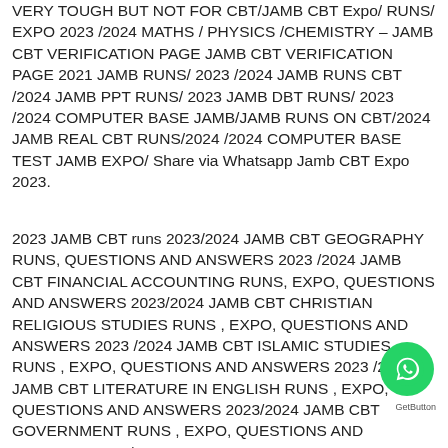VERY TOUGH BUT NOT FOR CBT/JAMB CBT Expo/ RUNS/ EXPO 2023 /2024 MATHS / PHYSICS /CHEMISTRY – JAMB CBT VERIFICATION PAGE JAMB CBT VERIFICATION PAGE 2021 JAMB RUNS/ 2023 /2024 JAMB RUNS CBT /2024 JAMB PPT RUNS/ 2023 JAMB DBT RUNS/ 2023 /2024 COMPUTER BASE JAMB/JAMB RUNS ON CBT/2024 JAMB REAL CBT RUNS/2024 /2024 COMPUTER BASE TEST JAMB EXPO/ Share via Whatsapp Jamb CBT Expo 2023.
2023 JAMB CBT runs 2023/2024 JAMB CBT GEOGRAPHY RUNS, QUESTIONS AND ANSWERS 2023 /2024 JAMB CBT FINANCIAL ACCOUNTING RUNS, EXPO, QUESTIONS AND ANSWERS 2023/2024 JAMB CBT CHRISTIAN RELIGIOUS STUDIES RUNS , EXPO, QUESTIONS AND ANSWERS 2023 /2024 JAMB CBT ISLAMIC STUDIES RUNS , EXPO, QUESTIONS AND ANSWERS 2023 /2024 JAMB CBT LITERATURE IN ENGLISH RUNS , EXPO, QUESTIONS AND ANSWERS 2023/2024 JAMB CBT GOVERNMENT RUNS , EXPO, QUESTIONS AND ANSWERS 2023/2024 JAMB CBT ECONOMICS RUNS , EXPO, QUESTIONS AND ANSWERS 2023/2024 JAMB CBT CHEMISTRY RUNS ,